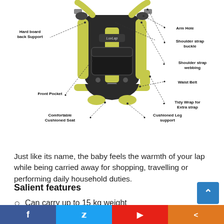[Figure (illustration): Baby carrier product diagram with labeled parts: Hard board back Support, Arm Hole, Shoulder strap buckle, Shoulder strap webbing, Waist Belt, Tidy Wrap for Extra strap, Cushioned Leg support, Comfortable Cushioned Seat, Front Pocket. Brand: LuvLap. Carrier is black and yellow-green colored.]
CHECK PRICE AT AMAZON
Just like its name, the baby feels the warmth of your lap while being carried away for shopping, travelling or performing daily household duties.
Salient features
Can carry up to 15 kg weight